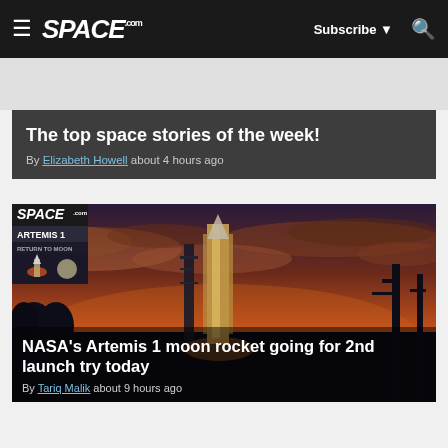SPACE.com — Subscribe ▼ 🔍
The top space stories of the week!
By Elizabeth Howell about 4 hours ago
[Figure (photo): NASA Artemis 1 SLS rocket on launch pad at sunset with orange sky backdrop. Space.com Artemis 1 badge overlay in top-left corner.]
NASA's Artemis 1 moon rocket going for 2nd launch try today
By Tariq Malik about 9 hours ago